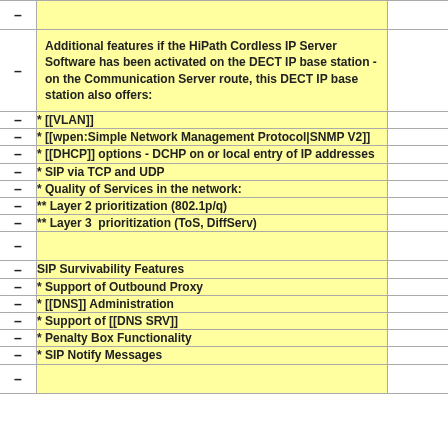Additional features if the HiPath Cordless IP Server Software has been activated on the DECT IP base station - on the Communication Server route, this DECT IP base station also offers:
* [[VLAN]]
* [[wpen:Simple Network Management Protocol|SNMP V2]]
* [[DHCP]] options - DCHP on or local entry of IP addresses
* SIP via TCP and UDP
* Quality of Services in the network:
** Layer 2 prioritization (802.1p/q)
** Layer 3  prioritization (ToS, DiffServ)
SIP Survivability Features
* Support of Outbound Proxy
* [[DNS]] Administration
* Support of [[DNS SRV]]
* Penalty Box Functionality
* SIP Notify Messages